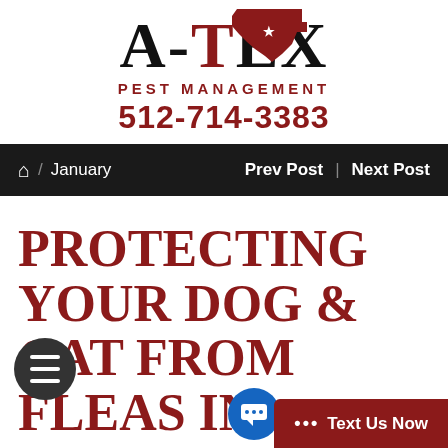[Figure (logo): A-TEX Pest Management logo with Texas state shape in dark red and large serif text]
home / January    Prev Post | Next Post
PROTECTING YOUR DOG & CAT FROM FLEAS IN LAKEWAY, TX; BEST FLEA